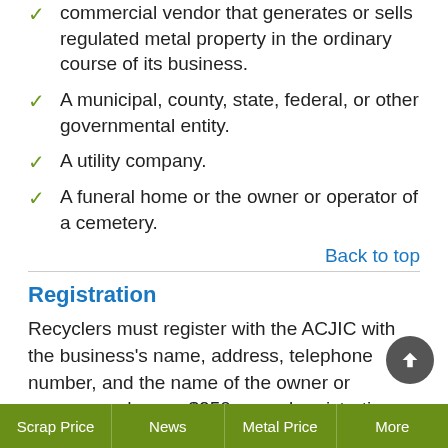commercial vendor that generates or sells regulated metal property in the ordinary course of its business.
A municipal, county, state, federal, or other governmental entity.
A utility company.
A funeral home or the owner or operator of a cemetery.
Back to top
Registration
Recyclers must register with the ACJIC with the business's name, address, telephone number, and the name of the owner or owners, and pay a $250 annual registration fee.